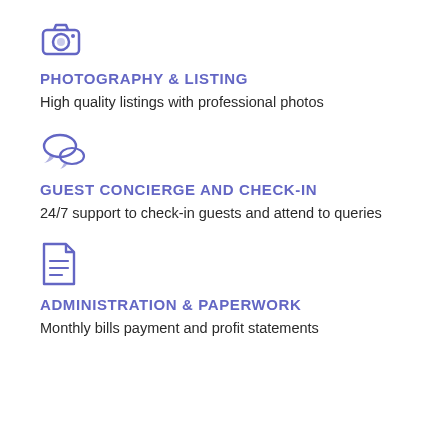[Figure (illustration): Camera icon in medium purple/blue color]
PHOTOGRAPHY & LISTING
High quality listings with professional photos
[Figure (illustration): Speech bubbles / chat icon in medium purple/blue color]
GUEST CONCIERGE AND CHECK-IN
24/7 support to check-in guests and attend to queries
[Figure (illustration): Document / file icon in medium purple/blue color]
ADMINISTRATION & PAPERWORK
Monthly bills payment and profit statements